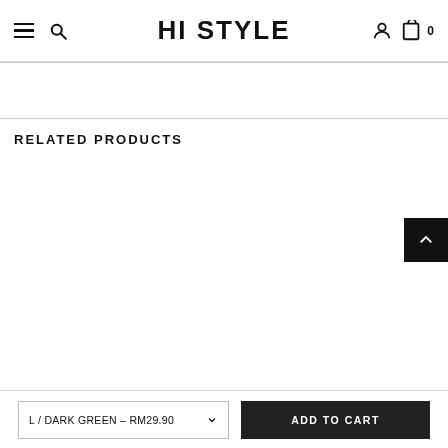HI STYLE
RELATED PRODUCTS
L / DARK GREEN – RM29.90  ADD TO CART